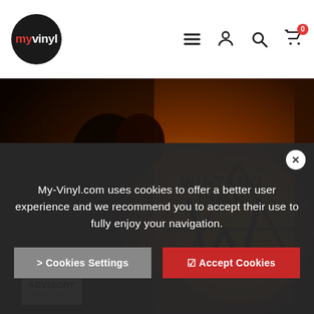myvinyl navigation header with logo, menu, account, search, and cart icons
[Figure (photo): Wu-Tang Clan Enter The Wu-Tang album cover artwork showing dark figures with Wu-Tang logo and Parental Advisory sticker]
Wu-Tang Clan
Enter The Wu-Tang (36
My-Vinyl.com uses cookies to offer a better user experience and we recommend you to accept their use to fully enjoy your navigation.
> Cookies Settings
✔ Accept Cookies